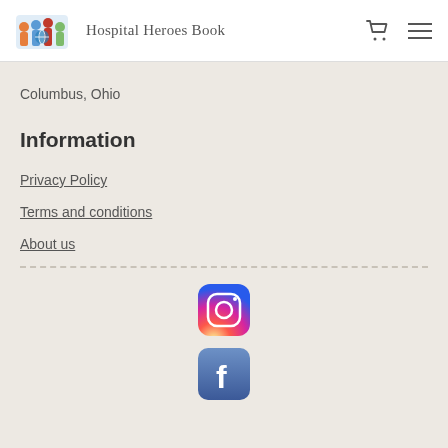Hospital Heroes Book
Columbus, Ohio
Information
Privacy Policy
Terms and conditions
About us
[Figure (logo): Instagram logo icon]
[Figure (logo): Facebook logo icon]